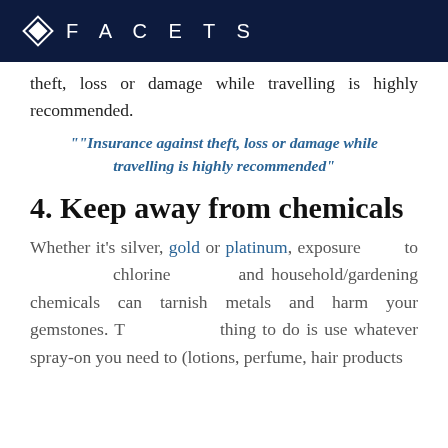FACETS
theft, loss or damage while travelling is highly recommended.
""Insurance against theft, loss or damage while travelling is highly recommended"
4. Keep away from chemicals
Whether it’s silver, gold or platinum, exposure to chlorine and household/gardening chemicals can tarnish metals and harm your gemstones. T… thing to do is use whatever spray-on you need to (lotions, perfume, hair products